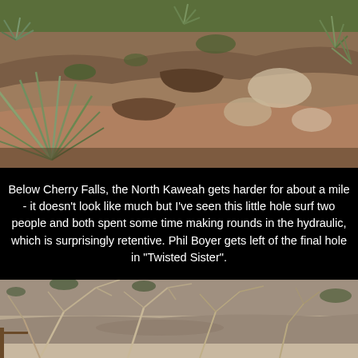[Figure (photo): Photograph of rocky hillside with desert plants including yucca and agave growing among large boulders and rocky outcroppings. Vegetation is green-gray against reddish-brown and tan rocks.]
Below Cherry Falls, the North Kaweah gets harder for about a mile - it doesn't look like much but I've seen this little hole surf two people and both spent some time making rounds in the hydraulic, which is surprisingly retentive. Phil Boyer gets left of the final hole in "Twisted Sister".
[Figure (photo): Photograph of rocky terrain with bare twisted branches and shrubs growing among large light-colored boulders and stone ledges.]